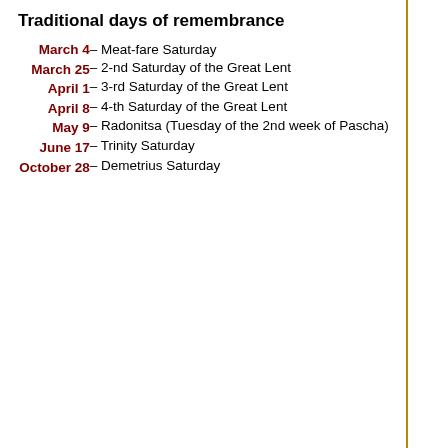Traditional days of remembrance
| Date | Description |
| --- | --- |
| March 4 | – Meat-fare Saturday |
| March 25 | – 2-nd Saturday of the Great Lent |
| April 1 | – 3-rd Saturday of the Great Lent |
| April 8 | – 4-th Saturday of the Great Lent |
| May 9 | – Radonitsa (Tuesday of the 2nd week of Pascha) |
| June 17 | – Trinity Saturday |
| October 28 | – Demetrius Saturday |